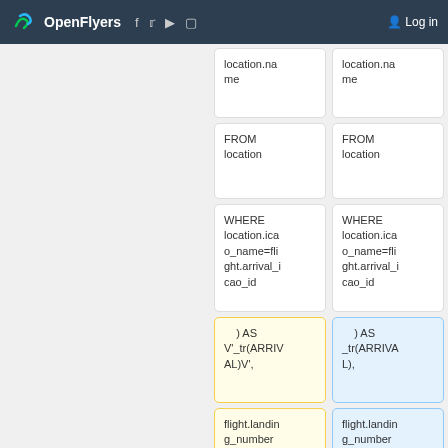OpenFlyers | Log in
[Figure (screenshot): Screenshot of a code diff comparison interface showing SQL code fragments in paired columns. Left column shows removed lines (yellow background with minus sign), right column shows added lines (blue background with plus sign). Cells contain SQL snippets: location.name, FROM location, WHERE location.icao_name=flight.arrival_icao_id, ) AS V_tr(ARRIVAL)V', and flight.landing_number AS.]
location.name
location.name
FROM location
FROM location
WHERE location.icao_name=flight.arrival_icao_id
WHERE location.icao_name=flight.arrival_icao_id
) AS V'_tr(ARRIVAL)V',
) AS _tr(ARRIVAL),
flight.landing_number AS
flight.landing_number AS